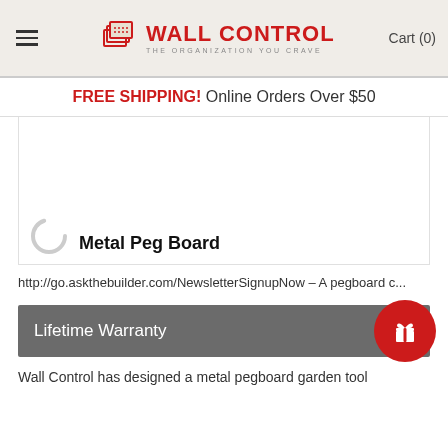Wall Control — THE ORGANIZATION YOU CRAVE   Cart (0)
FREE SHIPPING! Online Orders Over $50
[Figure (photo): Product image area with loading spinner]
Metal Peg Board
http://go.askthebuilder.com/NewsletterSignupNow – A pegboard c...
Lifetime Warranty
Wall Control has designed a metal pegboard garden tool